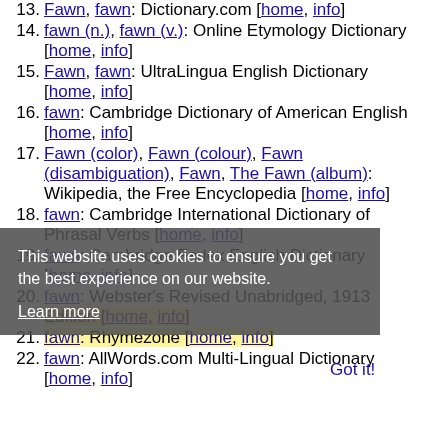13. Fawn, fawn: Dictionary.com [home, info]
14. fawn (n.), fawn (v.): Online Etymology Dictionary [home, info]
15. Fawn, fawn: UltraLingua English Dictionary [home, info]
16. fawn: Cambridge Dictionary of American English [home, info]
17. Fawn (color), Fawn (colour), Fawn (disambiguation), Fawn, The Fawn (album): Wikipedia, the Free Encyclopedia [home, info]
18. fawn: Cambridge International Dictionary of Phrasal Verbs [home, info]
19. fawn: Cambridge Farlex English Dictionary [home, info]
20. fawn: Webster's Revised Unabridged, 1913 Edition [home, info]
21. fawn: Rhymezone [home, info]
22. fawn: AllWords.com Multi-Lingual Dictionary [home, info]